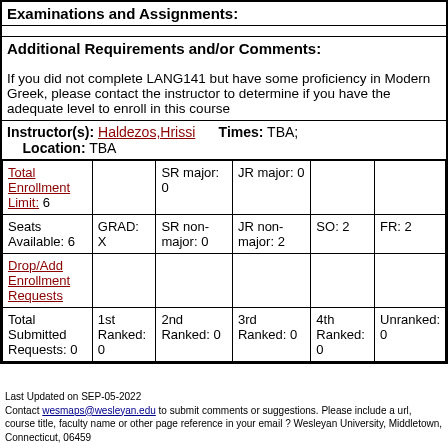Examinations and Assignments:
Additional Requirements and/or Comments:
If you did not complete LANG141 but have some proficiency in Modern Greek, please contact the instructor to determine if you have the adequate level to enroll in this course
| Instructor(s): Haldezos,Hrissi   Times: TBA;
  Location: TBA |
| Total Enrollment Limit: 6 |  | SR major: 0 | JR major: 0 |  |  |
| Seats Available: 6 | GRAD: X | SR non-major: 0 | JR non-major: 2 | SO: 2 | FR: 2 |
| Drop/Add Enrollment Requests |  |  |  |  |  |
| Total Submitted Requests: 0 | 1st Ranked: 0 | 2nd Ranked: 0 | 3rd Ranked: 0 | 4th Ranked: 0 | Unranked: 0 |
Last Updated on SEP-05-2022
Contact wesmaps@wesleyan.edu to submit comments or suggestions. Please include a url, course title, faculty name or other page reference in your email ? Wesleyan University, Middletown, Connecticut, 06459